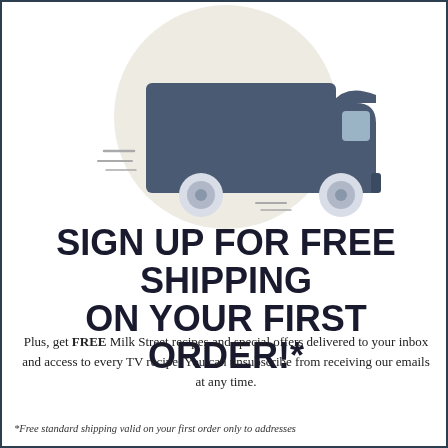[Figure (illustration): Illustration of a delivery truck moving fast, shown in dark slate-blue color on a beige/cream circular background. The truck faces right with speed lines behind it and rounded wheels.]
SIGN UP FOR FREE SHIPPING ON YOUR FIRST ORDER!*
Plus, get FREE Milk Street recipes and special offers delivered to your inbox and access to every TV recipe. You can unsubscribe from receiving our emails at any time.
*Free standard shipping valid on your first order only to addresses